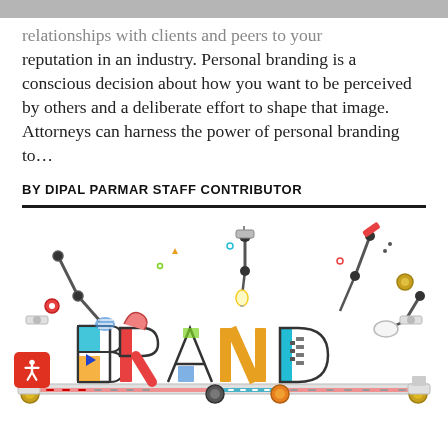relationships with clients and peers to your reputation in an industry.
reputation in an industry. Personal branding is a conscious decision about how you want to be perceived by others and a deliberate effort to shape that image. Attorneys can harness the power of personal branding to…
BY DIPAL PARMAR STAFF CONTRIBUTOR
[Figure (illustration): Colorful illustration of the word BRAND made up of decorative mechanical letters with robotic arms, lamps, gears, and tools on a conveyor belt background.]